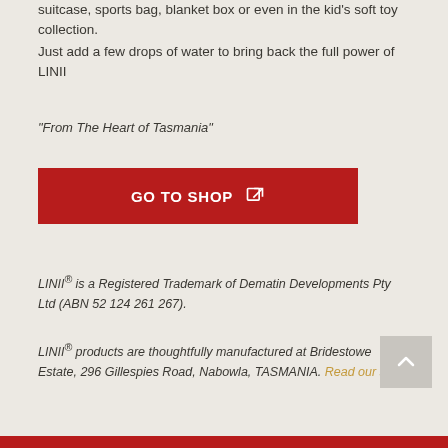suitcase, sports bag, blanket box or even in the kid's soft toy collection.
Just add a few drops of water to bring back the full power of LINII
"From The Heart of Tasmania"
GO TO SHOP
LINII® is a Registered Trademark of Dematin Developments Pty Ltd (ABN 52 124 261 267).
LINII® products are thoughtfully manufactured at Bridestowe Estate, 296 Gillespies Road, Nabowla, TASMANIA. Read our story.